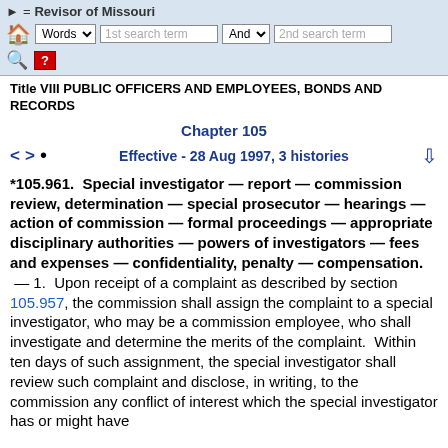Revisor of Missouri — toolbar with Words search, 1st search term, And, 2nd search term
Title VIII PUBLIC OFFICERS AND EMPLOYEES, BONDS AND RECORDS
Chapter 105
< > • Effective - 28 Aug 1997, 3 histories ↓
*105.961. Special investigator — report — commission review, determination — special prosecutor — hearings — action of commission — formal proceedings — appropriate disciplinary authorities — powers of investigators — fees and expenses — confidentiality, penalty — compensation. — 1. Upon receipt of a complaint as described by section 105.957, the commission shall assign the complaint to a special investigator, who may be a commission employee, who shall investigate and determine the merits of the complaint. Within ten days of such assignment, the special investigator shall review such complaint and disclose, in writing, to the commission any conflict of interest which the special investigator has or might have